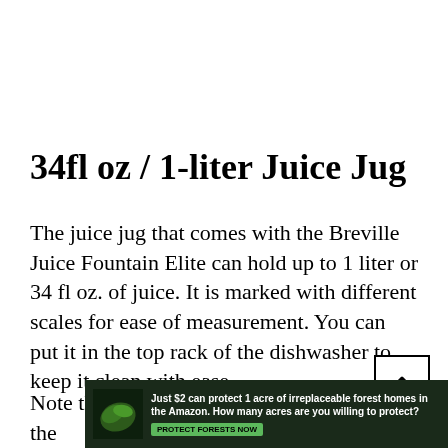34fl oz / 1-liter Juice Jug
The juice jug that comes with the Breville Juice Fountain Elite can hold up to 1 liter or 34 fl oz. of juice. It is marked with different scales for ease of measurement. You can put it in the top rack of the dishwasher to keep it clean with ease.
Note that the juice container can hold only the
[Figure (other): Advertisement banner: Just $2 can protect 1 acre of irreplaceable forest homes in the Amazon. How many acres are you willing to protect? PROTECT FORESTS NOW]